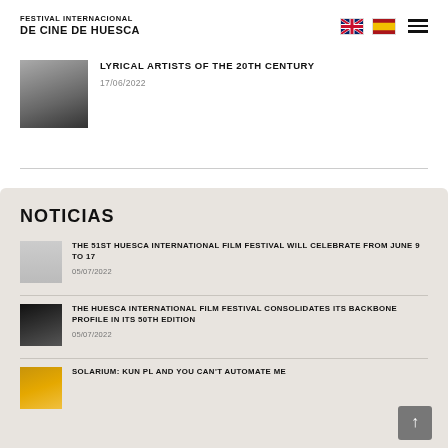FESTIVAL INTERNACIONAL DE CINE DE HUESCA
[Figure (photo): Thumbnail photo in grayscale showing people/feet]
LYRICAL ARTISTS OF THE 20TH CENTURY
17/06/2022
NOTICIAS
[Figure (photo): Thumbnail showing trophies/awards statuettes]
THE 51ST HUESCA INTERNATIONAL FILM FESTIVAL WILL CELEBRATE FROM JUNE 9 TO 17
05/07/2022
[Figure (photo): Thumbnail showing dark auditorium/theater]
THE HUESCA INTERNATIONAL FILM FESTIVAL CONSOLIDATES ITS BACKBONE PROFILE IN ITS 50TH EDITION
05/07/2022
[Figure (photo): Thumbnail showing warm-toned image]
SOLARIUM: KUN PL AND YOU CAN'T AUTOMATE ME